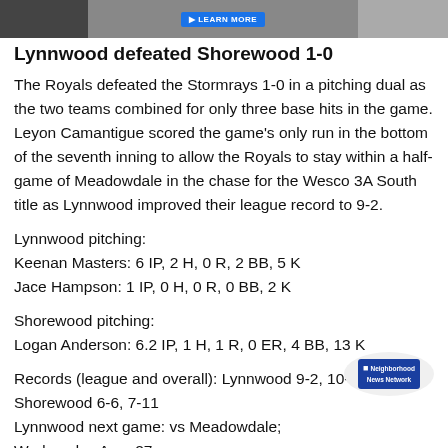[Figure (photo): Partial banner/advertisement image at top of page with a 'LEARN MORE' button]
Lynnwood defeated Shorewood 1-0
The Royals defeated the Stormrays 1-0 in a pitching dual as the two teams combined for only three base hits in the game. Leyon Camantigue scored the game's only run in the bottom of the seventh inning to allow the Royals to stay within a half-game of Meadowdale in the chase for the Wesco 3A South title as Lynnwood improved their league record to 9-2.
Lynnwood pitching:
Keenan Masters: 6 IP, 2 H, 0 R, 2 BB, 5 K
Jace Hampson: 1 IP, 0 H, 0 R, 0 BB, 2 K
Shorewood pitching:
Logan Anderson: 6.2 IP, 1 H, 1 R, 0 ER, 4 BB, 13 K
Records (league and overall): Lynnwood 9-2, 10-6; Shorewood 6-6, 7-11
Lynnwood next game: vs Meadowdale; Wednesday Apr... 27; 4 p.m. at Lynnwood High School